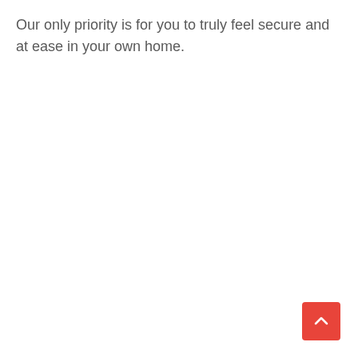Our only priority is for you to truly feel secure and at ease in your own home.
[Figure (other): Red square button with white upward-pointing chevron arrow, used as a back-to-top navigation button, positioned in the bottom-right corner of the page.]